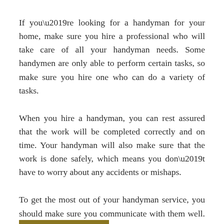If you’re looking for a handyman for your home, make sure you hire a professional who will take care of all your handyman needs. Some handymen are only able to perform certain tasks, so make sure you hire one who can do a variety of tasks.
When you hire a handyman, you can rest assured that the work will be completed correctly and on time. Your handyman will also make sure that the work is done safely, which means you don’t have to worry about any accidents or mishaps.
To get the most out of your handyman service, you should make sure you communicate with them well. You should also be prepared for any unexpected problems that might arise.